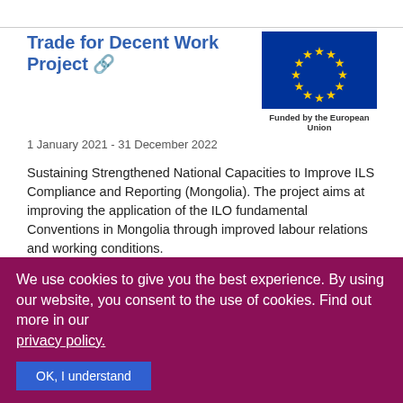Trade for Decent Work Project 🔗
[Figure (illustration): European Union flag — circle of twelve gold stars on blue background. Caption: Funded by the European Union]
1 January 2021 - 31 December 2022
Sustaining Strengthened National Capacities to Improve ILS Compliance and Reporting (Mongolia). The project aims at improving the application of the ILO fundamental Conventions in Mongolia through improved labour relations and working conditions.
Improved social dialogue, tripartism and better application of basic rights on freedom
We use cookies to give you the best experience. By using our website, you consent to the use of cookies. Find out more in our privacy policy.